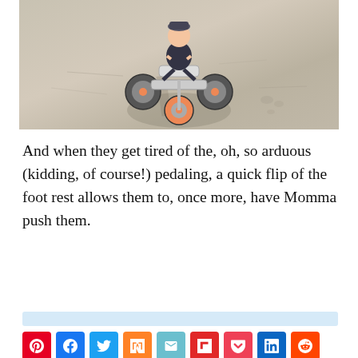[Figure (photo): A young toddler riding an orange and grey tricycle on a sandy beach. The child casts a shadow on the sand. The photo is taken from slightly above, looking down at the child on the tricycle.]
And when they get tired of the, oh, so arduous (kidding, of course!) pedaling, a quick flip of the foot rest allows them to, once more, have Momma push them.
[Figure (other): Social media share buttons row: Pinterest (red), Facebook (blue), Twitter (light blue), Mix (orange), Email (cyan), Flipboard (red), Pocket (pink-red), LinkedIn (dark blue), Reddit (orange-red)]